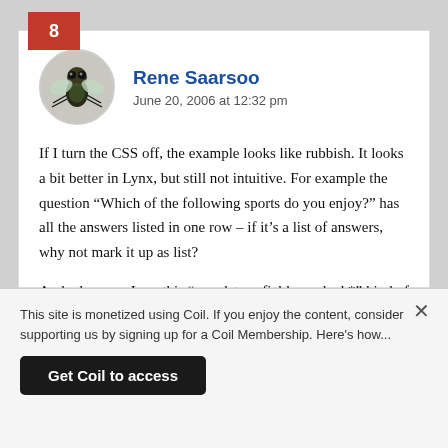8
Rene Saarsoo
June 20, 2006 at 12:32 pm
If I turn the CSS off, the example looks like rubbish. It looks a bit better in Lynx, but still not intuitive. For example the question “Which of the following sports do you enjoy?” has all the answers listed in one row – if it’s a list of answers, why not mark it up as list?
And whenever I see this “mandatory fields marked *” kind of thing, I think, why don’t they just add text “(mandatory)” or “(required)” after the field name?
This site is monetized using Coil. If you enjoy the content, consider supporting us by signing up for a Coil Membership. Here's how...
Get Coil to access